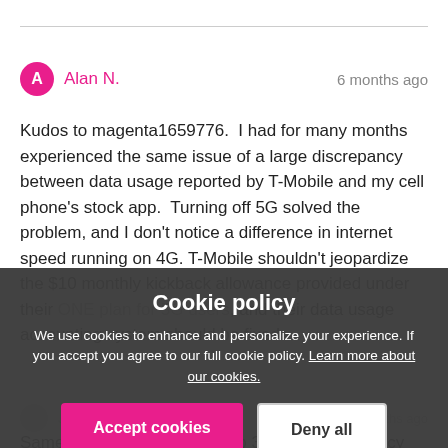Alan N.  6 months ago
Kudos to magenta1659776.  I had for many months experienced the same issue of a large discrepancy between data usage reported by T-Mobile and my cell phone's stock app.  Turning off 5G solved the problem, and I don't notice a difference in internet speed running on 4G. T-Mobile shouldn't jeopardize the $10 monthly kickback allowance provided under their ONE plan for 5G users, and their data usage accounting system should be fixed.
Cookie policy
We use cookies to enhance and personalize your experience. If you accept you agree to our full cookie policy. Learn more about our cookies.
Accept cookies
Deny all
Cookie settings
JC4   8 months ago
Same issue here.  Galaxy Flip 3.   The discrepancy between what